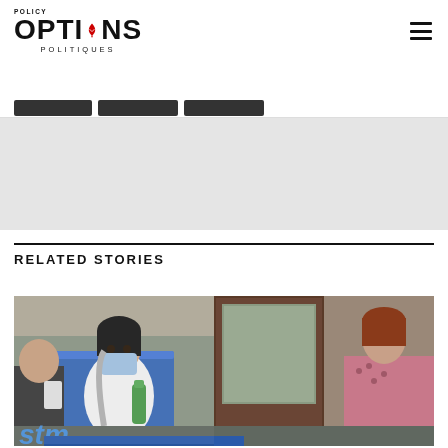Policy OPTIONS POLITIQUES
RELATED STORIES
[Figure (photo): People on a city transit bus/metro. A masked woman sits in a blue seat holding a water bottle. A dark door panel is visible in the center. The partial STM logo (Montreal transit) is visible at the bottom left.]